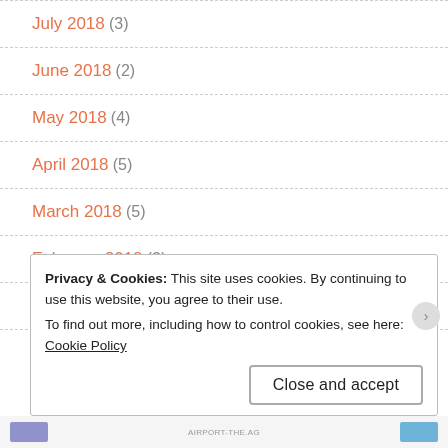July 2018 (3)
June 2018 (2)
May 2018 (4)
April 2018 (5)
March 2018 (5)
February 2018 (2)
January 2018 (3)
Privacy & Cookies: This site uses cookies. By continuing to use this website, you agree to their use.
To find out more, including how to control cookies, see here: Cookie Policy
Close and accept